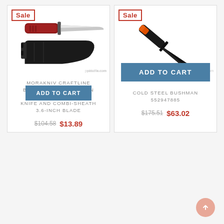[Figure (photo): Morakniv knife with red handle and black sheath, with 'Sale' badge]
MORAKNIV CRAFTLINE BASIC 511 HIGH CARBON STEEL UTILITY KNIFE AND COMBI-SHEATH 3.6-INCH BLADE
$104.58 $13.89
[Figure (photo): Cold Steel Bushman knife with orange and black handle, with 'Sale' badge]
COLD STEEL BUSHMAN 552947885
$175.51 $63.02